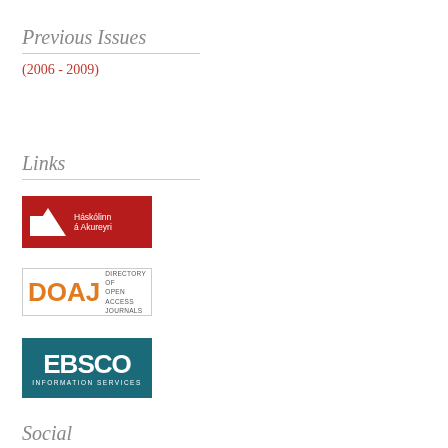Previous Issues
(2006 - 2009)
Links
[Figure (logo): Háskólinn á Akureyri university logo — red background with white geometric shapes and white text]
[Figure (logo): DOAJ Directory of Open Access Journals logo — orange letters with grey text, bordered box]
[Figure (logo): EBSCO Information Services logo — white text on teal/dark cyan background]
Social